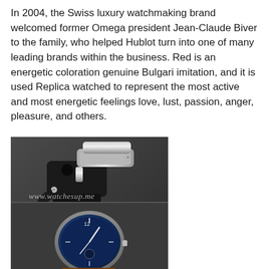In 2004, the Swiss luxury watchmaking brand welcomed former Omega president Jean-Claude Biver to the family, who helped Hublot turn into one of many leading brands within the business. Red is an energetic coloration genuine Bulgari imitation, and it is used Replica watched to represent the most active and most energetic feelings love, lust, passion, anger, pleasure, and others.
[Figure (photo): Close-up photo of a luxury watch showing the side crown and case of a Panerai-style watch with a black case and silver crown guard on top, and below it a blue-dial watch with a brown leather strap. The watermark 'www.watchesup.me' is visible on the image.]